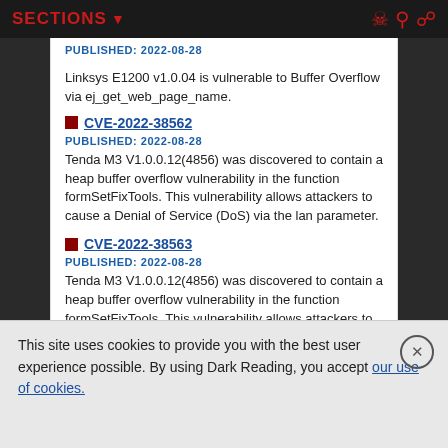SECTIONS ▼
PUBLISHED: 2022-08-28
Linksys E1200 v1.0.04 is vulnerable to Buffer Overflow via ej_get_web_page_name.
CVE-2022-38562
PUBLISHED: 2022-08-28
Tenda M3 V1.0.0.12(4856) was discovered to contain a heap buffer overflow vulnerability in the function formSetFixTools. This vulnerability allows attackers to cause a Denial of Service (DoS) via the lan parameter.
CVE-2022-38563
PUBLISHED: 2022-08-28
Tenda M3 V1.0.0.12(4856) was discovered to contain a heap buffer overflow vulnerability in the function formSetFixTools. This vulnerability allows attackers to cause a Denial of Service (DoS) via the MACAddr parameter.
This site uses cookies to provide you with the best user experience possible. By using Dark Reading, you accept our use of cookies.